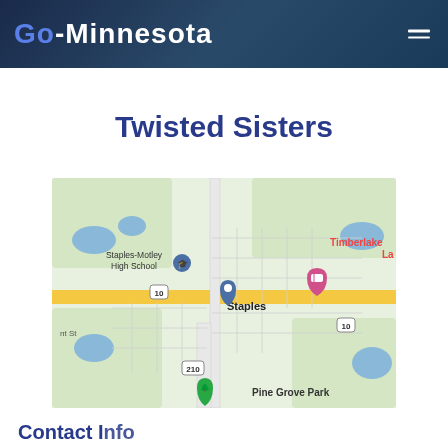Go-Minnesota
Twisted Sisters
[Figure (map): Google Maps view of Staples, Minnesota showing Staples-Motley High School, Staples city, Timberlake La(ke), Pine Grove Park, and routes 10 and 210.]
Contact Info